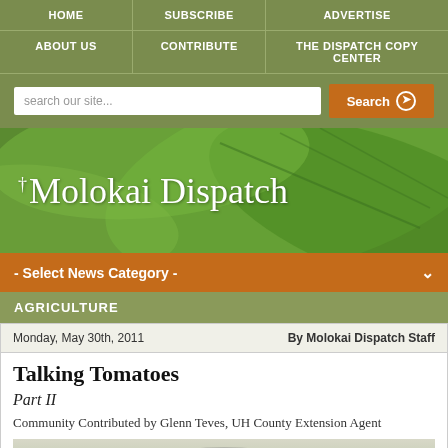HOME | SUBSCRIBE | ADVERTISE | ABOUT US | CONTRIBUTE | THE DISPATCH COPY CENTER
[Figure (screenshot): The Molokai Dispatch website header banner with green leaf background]
- Select News Category -
AGRICULTURE
Monday, May 30th, 2011   By Molokai Dispatch Staff
Talking Tomatoes
Part II
Community Contributed by Glenn Teves, UH County Extension Agent